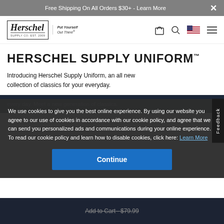Free Shipping On All Orders $30+ - Learn More
[Figure (logo): Herschel Supply Co logo with cursive Herschel wordmark and 'Put Yourself Out There' tagline]
HERSCHEL SUPPLY UNIFORM™
Introducing Herschel Supply Uniform, an all new collection of classics for your everyday.
We use cookies to give you the best online experience. By using our website you agree to our use of cookies in accordance with our cookie policy, and agree that we can send you personalized ads and communications during your online experience. To read our cookie policy and learn how to disable cookies, click here: Learn More
Continue
Add to Cart - $79.99